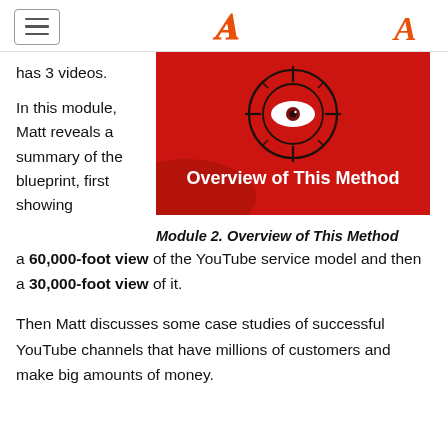≡  A
has 3 videos.
[Figure (illustration): Red background image with a target/crosshair containing an eye in the center, and bold white text reading 'Overview of This Method']
Module 2. Overview of This Method
In this module, Matt reveals a summary of the blueprint, first showing a 60,000-foot view of the YouTube service model and then a 30,000-foot view of it.
Then Matt discusses some case studies of successful YouTube channels that have millions of customers and make big amounts of money.